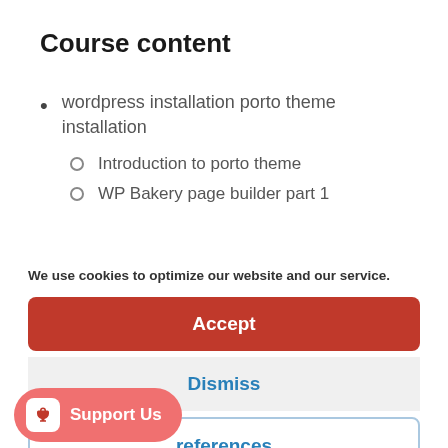Course content
wordpress installation porto theme installation
Introduction to porto theme
WP Bakery page builder part 1
We use cookies to optimize our website and our service.
Accept
Dismiss
references
Support Us